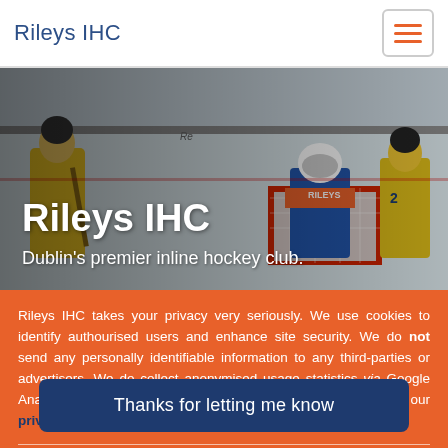Rileys IHC
[Figure (photo): Hockey players on an inline hockey rink; two players in yellow jerseys and a goalie in blue/orange Oilers-style gear in front of a red goal net.]
Rileys IHC
Dublin's premier inline hockey club.
Rileys IHC takes your privacy very seriously. We use cookies to identify authourised users and enhance site security. We do not send any personally identifiable information to any third-parties or advertisers. We do collect anonymised usage statistics via Google Analytics. More information can be found in our cookie and our privacy policies
Thanks for letting me know